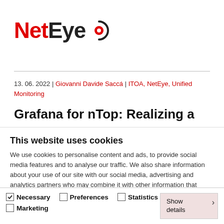[Figure (logo): NetEye logo with red 'Net', black 'Eye' text, and a stylized eye icon in red and black]
13. 06. 2022 | Giovanni Davide Saccá | ITOA, NetEye, Unified Monitoring
Grafana for nTop: Realizing a
This website uses cookies
We use cookies to personalise content and ads, to provide social media features and to analyse our traffic. We also share information about your use of our site with our social media, advertising and analytics partners who may combine it with other information that you've provided to them or that they've collected from your use of their services.
Allow selection | Allow all cookies
Necessary  Preferences  Statistics  Marketing  Show details